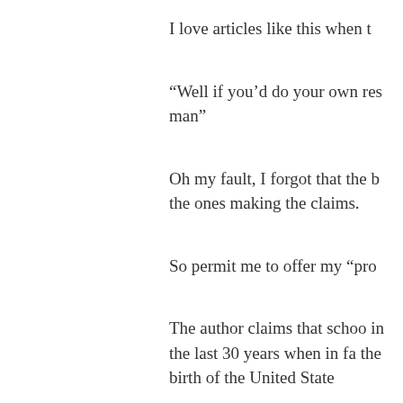I love articles like this when t
“Well if you’d do your own res man”
Oh my fault, I forgot that the b the ones making the claims.
So permit me to offer my “pro
The author claims that schoo in the last 30 years when in fa the birth of the United State